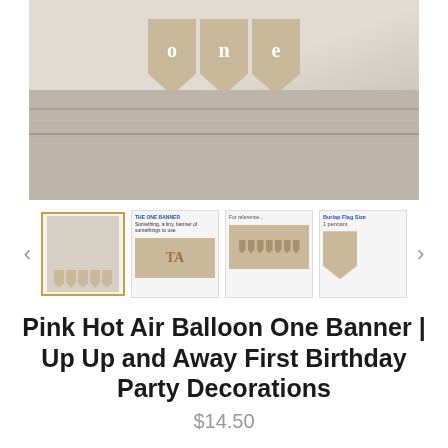[Figure (photo): Main product photo showing a burlap pennant banner spelling 'one' with hot air balloon motifs, displayed against a white wood plank background.]
[Figure (photo): Thumbnail row showing four product images with navigation arrows. First thumbnail is highlighted with gold border showing the banner laid out. Second shows instructions page. Third shows all pennants laid flat. Fourth shows a single burlap pennant with text 'Burlap Flag Size'.]
Pink Hot Air Balloon One Banner | Up Up and Away First Birthday Party Decorations
$14.50